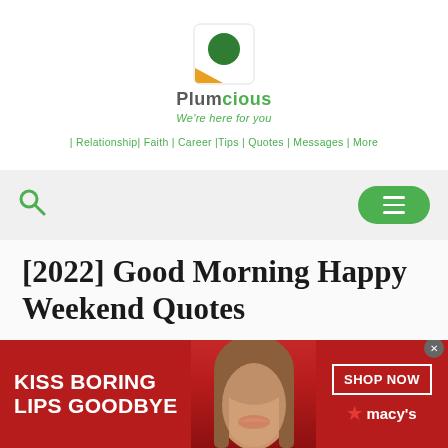[Figure (logo): Plumcious website logo — circular icon with green circle on orange/white square background, with brand name Plumcious and tagline We're here for you, plus navigation links: Relationship, Faith, Career, Tips, Quotes, Messages, More]
[Figure (screenshot): Website search bar area with green search icon on left and green rounded rectangle menu/hamburger button on right, set against light grey background]
[2022] Good Morning Happy Weekend Quotes
[Figure (infographic): Macy's advertisement banner: red background with white bold text KISS BORING LIPS GOODBYE on left, photo of woman's face with red lipstick in center, SHOP NOW button and Macy's star logo on right]